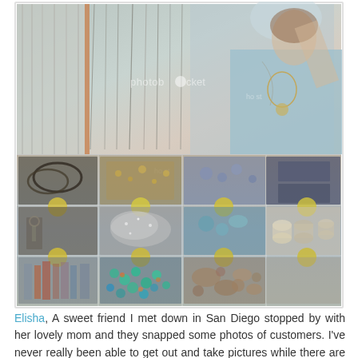[Figure (photo): Two-part collage photo: top section shows a woman in a light blue top browsing hanging jewelry/necklaces at what appears to be a market or craft fair booth, with a Photobucket watermark overlay. Bottom section shows an overhead view of display boxes/trays filled with various jewelry items, buttons, beads, and craft supplies organized in compartments with small circular price tags.]
Elisha, A sweet friend I met down in San Diego stopped by with her lovely mom and they snapped some photos of customers. I've never really been able to get out and take pictures while there are people shopping, and it was a fun new perspective to see. Thanks Elisha! Be sure to stop by her blog!